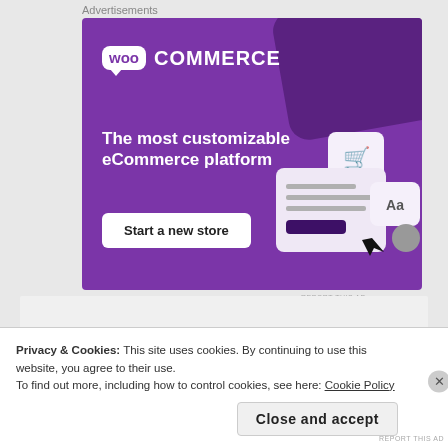Advertisements
[Figure (illustration): WooCommerce advertisement banner with purple background. Shows WooCommerce logo at top left, headline text 'The most customizable eCommerce platform', a 'Start a new store' button, and UI mockup elements on the right side.]
REPORT THIS AD
Privacy & Cookies: This site uses cookies. By continuing to use this website, you agree to their use.
To find out more, including how to control cookies, see here: Cookie Policy
Close and accept